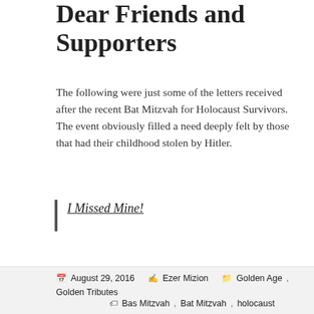Dear Friends and Supporters
The following were just some of the letters received after the recent Bat Mitzvah for Holocaust Survivors. The event obviously filled a need deeply felt by those that had their childhood stolen by Hitler.
I Missed Mine!
Continue reading →
[Figure (other): Social media share buttons: Facebook, Twitter, Pinterest, LinkedIn, Email]
August 29, 2016  Ezer Mizion  Golden Age, Golden Tributes  Bas Mitzvah, Bat Mitzvah, holocaust